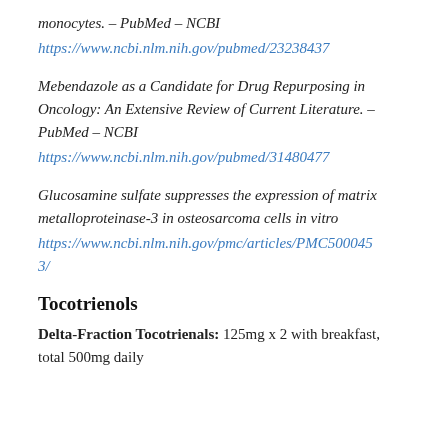monocytes. – PubMed – NCBI
https://www.ncbi.nlm.nih.gov/pubmed/23238437
Mebendazole as a Candidate for Drug Repurposing in Oncology: An Extensive Review of Current Literature. – PubMed – NCBI
https://www.ncbi.nlm.nih.gov/pubmed/31480477
Glucosamine sulfate suppresses the expression of matrix metalloproteinase-3 in osteosarcoma cells in vitro
https://www.ncbi.nlm.nih.gov/pmc/articles/PMC5000453/
Tocotrienols
Delta-Fraction Tocotrienals: 125mg x 2 with breakfast, total 500mg daily